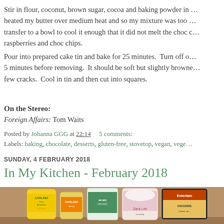Stir in flour, coconut, brown sugar, cocoa and baking powder in … heated my butter over medium heat and so my mixture was too … transfer to a bowl to cool it enough that it did not melt the choc c… raspberries and choc chips.
Pour into prepared cake tin and bake for 25 minutes.  Turn off o… 5 minutes before removing.  It should be soft but slightly browne… few cracks.  Cool in tin and then cut into squares.
On the Stereo:
Foreign Affairs: Tom Waits
Posted by Johanna GGG at 22:14     5 comments:
Labels: baking, chocolate, desserts, gluten-free, stovetop, vegan, vege…
SUNDAY, 4 FEBRUARY 2018
In My Kitchen - February 2018
[Figure (photo): Photo of food products lined up on a wooden surface including Capilano Pure Australian Honey jar, another honey jar, Veganics Organic container, Sara Lee ice cream tub, and Entertainer Crackers box.]